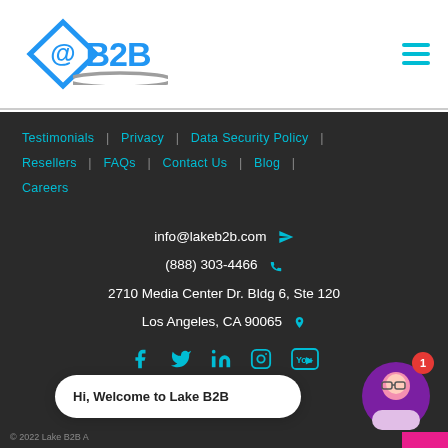[Figure (logo): Lake B2B logo with blue diamond @B2B symbol and stylized arc]
[Figure (other): Hamburger menu icon (three horizontal cyan lines)]
Testimonials | Privacy | Data Security Policy | Resellers | FAQs | Contact Us | Blog | Careers
info@lakeb2b.com
(888) 303-4466
2710 Media Center Dr. Bldg 6, Ste 120 Los Angeles, CA 90065
[Figure (other): Social media icons: Facebook, Twitter, LinkedIn, Instagram, YouTube]
[Figure (other): Pink side buttons: email, phone, document icons]
Hi, Welcome to Lake B2B
© 2022 Lake B2B A